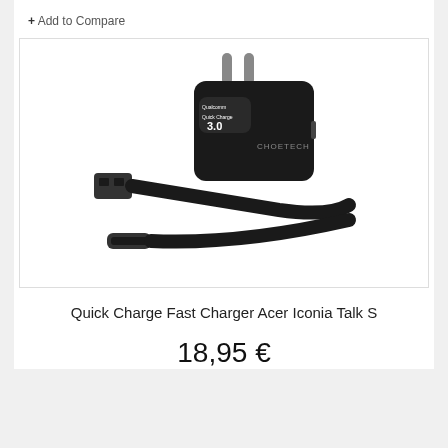+ Add to Compare
[Figure (photo): A black CHOETECH Quick Charge 3.0 USB wall charger adapter with two EU plug prongs on top and a USB port on the side, alongside a black USB-A to USB-C cable.]
Quick Charge Fast Charger Acer Iconia Talk S
18,95 €